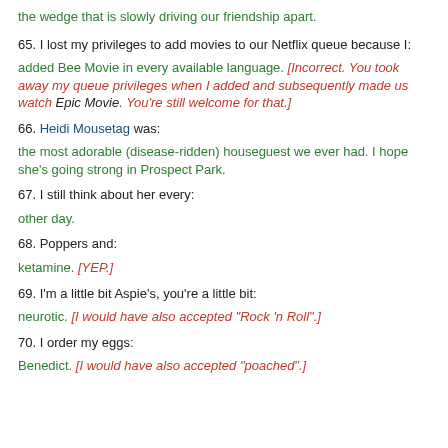the wedge that is slowly driving our friendship apart.
65. I lost my privileges to add movies to our Netflix queue because I: added Bee Movie in every available language. [Incorrect. You took away my queue privileges when I added and subsequently made us watch Epic Movie. You're still welcome for that.]
66. Heidi Mousetag was: the most adorable (disease-ridden) houseguest we ever had. I hope she's going strong in Prospect Park.
67. I still think about her every: other day.
68. Poppers and: ketamine. [YEP.]
69. I'm a little bit Aspie's, you're a little bit: neurotic. [I would have also accepted "Rock 'n Roll".]
70. I order my eggs: Benedict. [I would have also accepted "poached".]